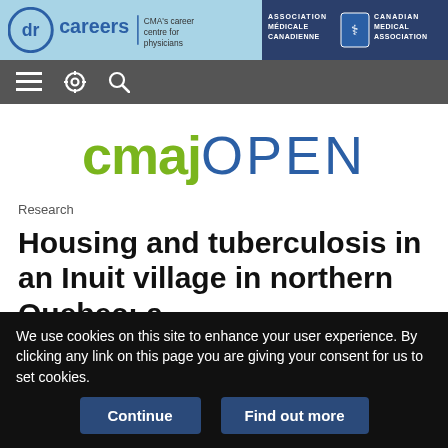[Figure (logo): dr careers - CMA's career centre for physicians banner with Canadian Medical Association logo on dark blue background]
[Figure (screenshot): Navigation bar with hamburger menu, settings gear, and search icons on grey background]
[Figure (logo): cmajOPEN logo - cmaj in green and OPEN in blue]
Research
Housing and tuberculosis in an Inuit village in northern Quebec: a
We use cookies on this site to enhance your user experience. By clicking any link on this page you are giving your consent for us to set cookies.